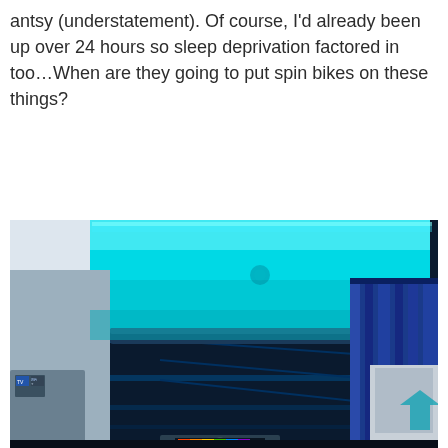antsy (understatement). Of course, I'd already been up over 24 hours so sleep deprivation factored in too…When are they going to put spin bikes on these things?
[Figure (photo): Interior photo of an airplane cabin at night with cyan/teal LED ambient lighting illuminating the curved ceiling and overhead compartments. Blue curtain visible on the right separating cabin sections. Seat-back screens and entertainment/WiFi icons visible on the left. Colorful thermal-like pattern visible at the bottom center.]